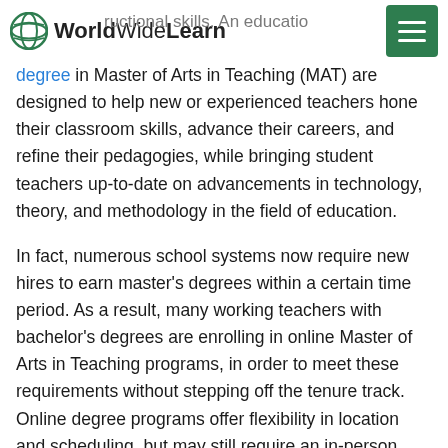WorldWideLearn
degree in Master of Arts in Teaching (MAT) are designed to help new or experienced teachers hone their classroom skills, advance their careers, and refine their pedagogies, while bringing student teachers up-to-date on advancements in technology, theory, and methodology in the field of education.
In fact, numerous school systems now require new hires to earn master's degrees within a certain time period. As a result, many working teachers with bachelor's degrees are enrolling in online Master of Arts in Teaching programs, in order to meet these requirements without stepping off the tenure track. Online degree programs offer flexibility in location and scheduling, but may still require an in-person student teaching component if you are not already a licensed teacher.